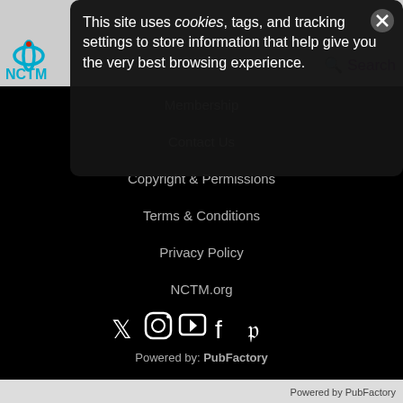[Figure (logo): NCTM logo with cyan/blue circular icon and NCTM text]
This site uses cookies, tags, and tracking settings to store information that help give you the very best browsing experience.
Search
Membership
Contact Us
Copyright & Permissions
Terms & Conditions
Privacy Policy
NCTM.org
[Figure (infographic): Social media icons row: Twitter, Instagram, YouTube, Facebook, Pinterest]
Powered by: PubFactory
Powered by PubFactory